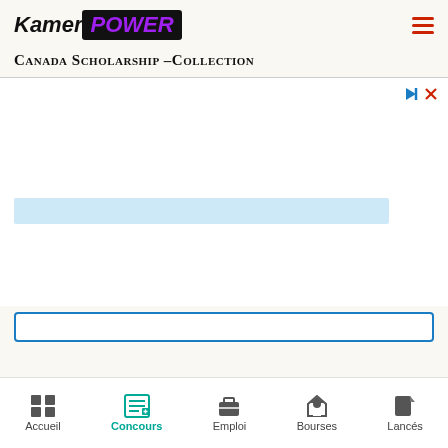[Figure (logo): KamerPOWER logo — 'Kamer' in bold italic black text, 'POWER' in bold italic purple text on black background box]
Canada Scholarship –Collection
[Figure (other): Advertisement area with a light blue horizontal bar in the middle and play/close icons in top-right corner]
[Figure (other): Search input box with blue border outline]
Accueil | Concours | Emploi | Bourses | Lancés